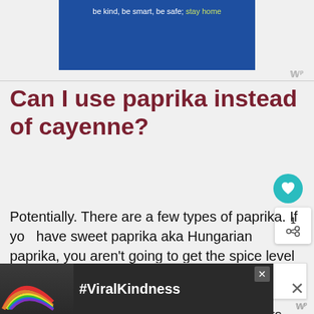[Figure (other): Blue advertisement banner with text 'be kind, be smart, be safe, stay home' where 'stay home' is in yellow-green]
Can I use paprika instead of cayenne?
Potentially. There are a few types of paprika. If you have sweet paprika aka Hungarian paprika, you aren't going to get the spice level you want. Your best bet will be to use Spanish paprika as it is a combination of dried and ground bell peppers as well as chili peppers.
[Figure (other): Bottom advertisement banner with #ViralKindness text and rainbow illustration on dark background]